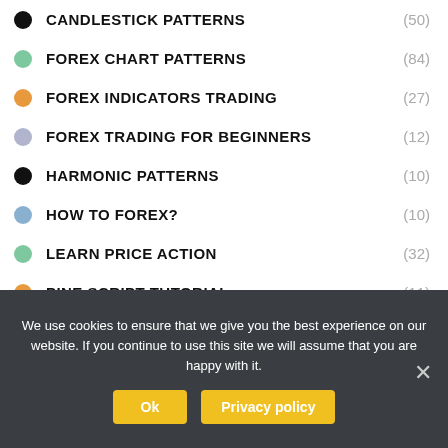CANDLESTICK PATTERNS (50)
FOREX CHART PATTERNS (84)
FOREX INDICATORS TRADING (27)
FOREX TRADING FOR BEGINNERS (12)
HARMONIC PATTERNS (10)
HOW TO FOREX? (10)
LEARN PRICE ACTION (32)
PINE SCRIPT TUTORIAL (11)
We use cookies to ensure that we give you the best experience on our website. If you continue to use this site we will assume that you are happy with it.
Ok | Privacy policy